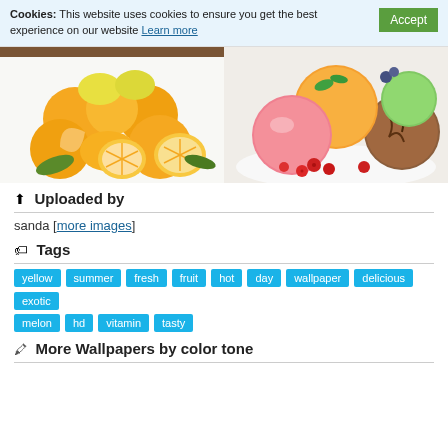Cookies: This website uses cookies to ensure you get the best experience on our website Learn more  Accept
[Figure (photo): Photo of oranges and lemons piled together with green leaves; some oranges sliced open showing the flesh]
[Figure (photo): Photo of colorful ice cream scoops — orange, pink, green, and chocolate — on a white plate with raspberries]
Uploaded by
sanda [more images]
Tags
yellow
summer
fresh
fruit
hot
day
wallpaper
delicious
exotic
melon
hd
vitamin
tasty
More Wallpapers by color tone